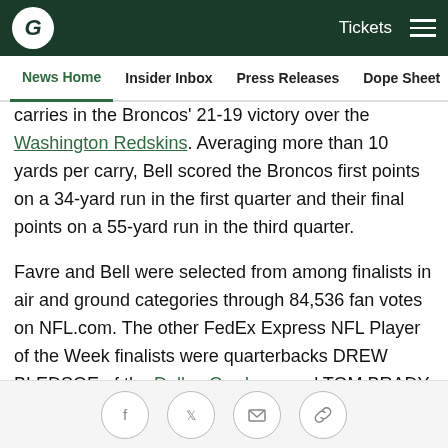Green Bay Packers navigation bar with logo, Tickets, and menu icon
News Home | Insider Inbox | Press Releases | Dope Sheet | Game
carries in the Broncos' 21-19 victory over the Washington Redskins. Averaging more than 10 yards per carry, Bell scored the Broncos first points on a 34-yard run in the first quarter and their final points on a 55-yard run in the third quarter.
Favre and Bell were selected from among finalists in air and ground categories through 84,536 fan votes on NFL.com. The other FedEx Express NFL Player of the Week finalists were quarterbacks DREW BLEDSOE of the Dallas Cowboys and TOM BRADY of the New England Patriots, while running backs SHAUN ALEXANDER of the Seattle Seahawks and FRED
Social sharing icons: Facebook, Twitter, Email, Link